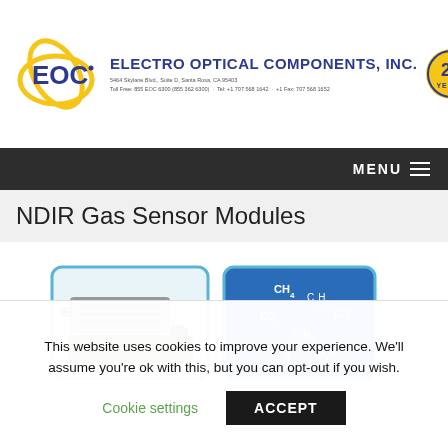[Figure (logo): EOC (Electro Optical Components, Inc.) logo with company name, address, phone numbers, and 25 Years badge]
MENU ≡
NDIR Gas Sensor Modules
[Figure (photo): Two product images: NDIR gas sensor module hardware on left, and a blue panel showing chemical formulas (CH4, C2H6, CO2, CO, C2H4, C3H8, CH2O) on right]
This website uses cookies to improve your experience. We'll assume you're ok with this, but you can opt-out if you wish.
Cookie settings   ACCEPT